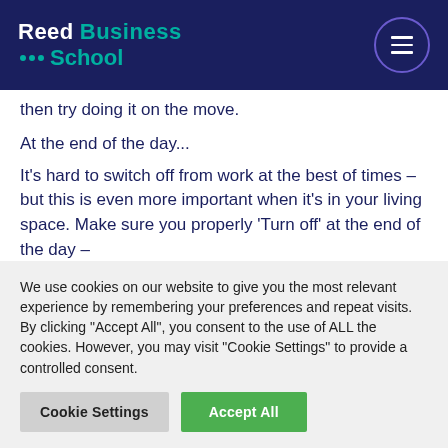Reed Business School
then try doing it on the move.
At the end of the day...
It’s hard to switch off from work at the best of times – but this is even more important when it’s in your living space. Make sure you properly ‘Turn off’ at the end of the day –
and that means mobile devices as well! Keeping
We use cookies on our website to give you the most relevant experience by remembering your preferences and repeat visits. By clicking “Accept All”, you consent to the use of ALL the cookies. However, you may visit “Cookie Settings” to provide a controlled consent.